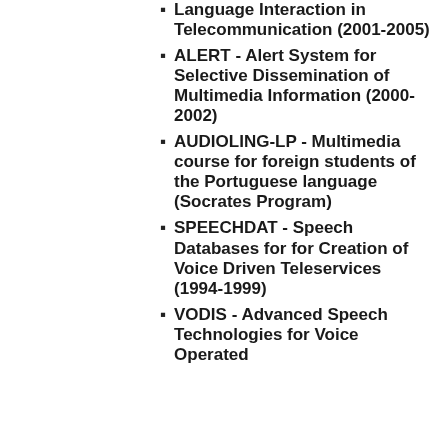Language Interaction in Telecommunication (2001-2005)
ALERT - Alert System for Selective Dissemination of Multimedia Information (2000-2002)
AUDIOLING-LP - Multimedia course for foreign students of the Portuguese language (Socrates Program)
SPEECHDAT - Speech Databases for for Creation of Voice Driven Teleservices (1994-1999)
VODIS - Advanced Speech Technologies for Voice Operated...